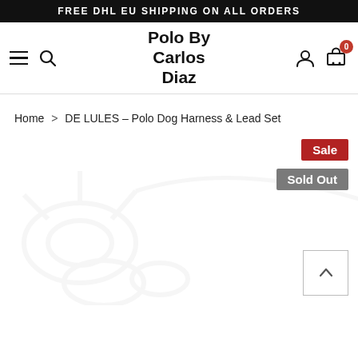FREE DHL EU SHIPPING ON ALL ORDERS
Polo By Carlos Diaz
Home > DE LULES – Polo Dog Harness & Lead Set
[Figure (screenshot): Product image area showing faint watermark of a dog harness and lead set on white background]
Sale
Sold Out